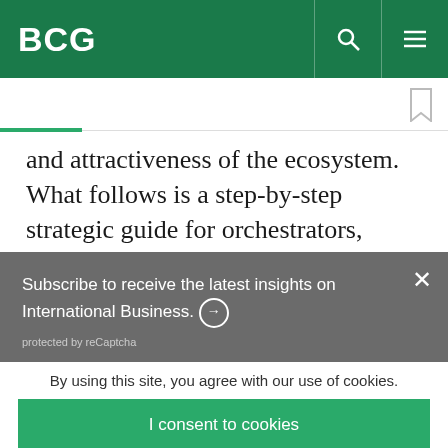BCG
and attractiveness of the ecosystem. What follows is a step-by-step strategic guide for orchestrators,
Subscribe to receive the latest insights on International Business. ➔
protected by reCaptcha
By using this site, you agree with our use of cookies.
I consent to cookies
Want to know more?
Read our Cookie Policy